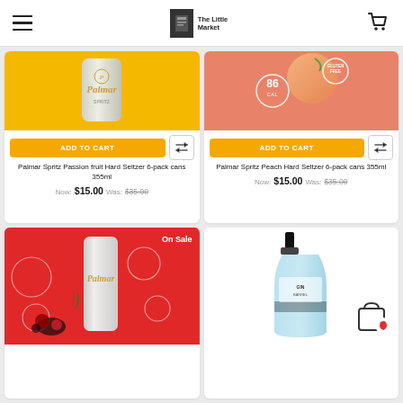The Little Market
[Figure (photo): Palmar Spritz Passion fruit Hard Seltzer product image on yellow background]
ADD TO CART
Palmar Spritz Passion fruit Hard Seltzer 6-pack cans 355ml
Now: $15.00  Was: $35.00
[Figure (photo): Palmar Spritz Peach Hard Seltzer product image on salmon/peach background with 86 cal badge and gluten free badge]
ADD TO CART
Palmar Spritz Peach Hard Seltzer 6-pack cans 355ml
Now: $15.00  Was: $35.00
[Figure (photo): Palmar berry hard seltzer can on red background with berry fruits and circle badges, On Sale label]
[Figure (photo): Light blue gin bottle on white background with wishlist/bag icon]